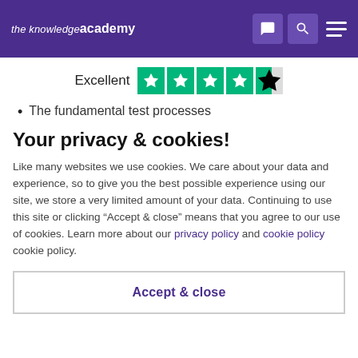the knowledge academy
[Figure (logo): The Knowledge Academy logo with navigation icons (chat, search, hamburger menu) on purple header bar]
Excellent [Trustpilot 4.5 stars]
The fundamental test processes
Your privacy & cookies!
Like many websites we use cookies. We care about your data and experience, so to give you the best possible experience using our site, we store a very limited amount of your data. Continuing to use this site or clicking “Accept & close” means that you agree to our use of cookies. Learn more about our privacy policy and cookie policy cookie policy.
Accept & close